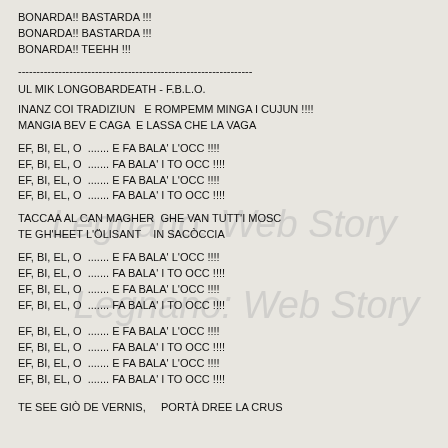BONARDA!! BASTARDA !!!
BONARDA!! BASTARDA !!!
BONARDA!! TEEHH !!!
----------------------------------------------------------------
UL MIK LONGOBARDEATH - F.B.L.O.
INANZ COI TRADIZIUN   E ROMPEMM MINGA I CUJUN !!!!
MANGIA BEV E CAGA  E LASSA CHE LA VAGA
EF, BI, EL, O  ....... E FA BALA' L'OCC !!!!
EF, BI, EL, O  ....... FA BALA' I TO OCC !!!!
EF, BI, EL, O  ....... E FA BALA' L'OCC !!!!
EF, BI, EL, O  ....... FA BALA' I TO OCC !!!!
TACCAA AL CAN MAGHER  GHE VAN TUTT'I MOSC
TE GH'HEET L'ÖLISANT   IN SACÒCCIA
EF, BI, EL, O  ....... E FA BALA' L'OCC !!!!
EF, BI, EL, O  ....... FA BALA' I TO OCC !!!!
EF, BI, EL, O  ....... E FA BALA' L'OCC !!!!
EF, BI, EL, O  ....... FA BALA' I TO OCC !!!!
EF, BI, EL, O  ....... E FA BALA' L'OCC !!!!
EF, BI, EL, O  ....... FA BALA' I TO OCC !!!!
EF, BI, EL, O  ....... E FA BALA' L'OCC !!!!
EF, BI, EL, O  ....... FA BALA' I TO OCC !!!!
TE SEE GIÒ DE VERNIS,    PORTÀ DREE LA CRUS